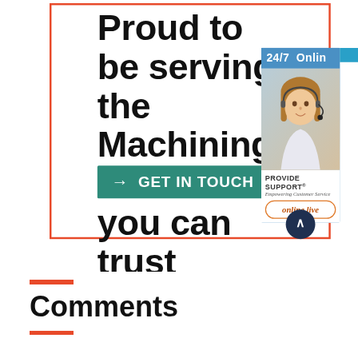Proud to be serving the Machining Platform you can trust
[Figure (screenshot): GET IN TOUCH button with teal background and white arrow and text]
[Figure (screenshot): 24/7 Online chat widget with customer support representative photo, PROVIDE SUPPORT branding, and online live button]
Comments